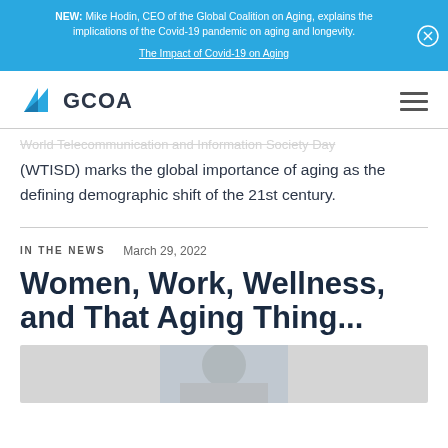NEW: Mike Hodin, CEO of the Global Coalition on Aging, explains the implications of the Covid-19 pandemic on aging and longevity. The Impact of Covid-19 on Aging
[Figure (logo): GCOA logo with blue angular shape and text GCOA]
(WTISD) marks the global importance of aging as the defining demographic shift of the 21st century.
IN THE NEWS   March 29, 2022
Women, Work, Wellness, and That Aging Thing...
[Figure (photo): Partial photo at bottom of page, appears to show a person]